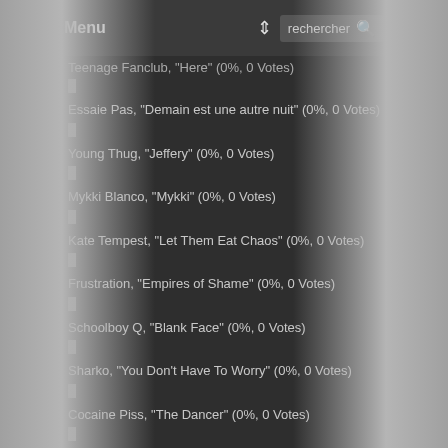Menu | rechercher
Teenage Fanclub, "Here" (0%, 0 Votes)
Essaie Pas, "Demain est une autre nuit" (0%, 0 Votes)
Young Thug, "Jeffery" (0%, 0 Votes)
Mykki Blanco, "Mykki" (0%, 0 Votes)
Kate Tempest, "Let Them Eat Chaos" (0%, 0 Votes)
Frustration, "Empires of Shame" (0%, 0 Votes)
Schoolboy Q, "Blank Face" (0%, 0 Votes)
Sharko, "You Don't Have To Worry" (0%, 0 Votes)
Cocaine Piss, "The Dancer" (0%, 0 Votes)
Total Voters: 587
MOTS-CLEFS
FESTIVALS  FESTIVAL  WERDITER  POUR